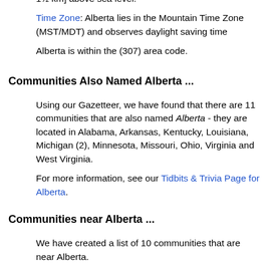Alberta is 4,658 feet [1,459 m] above sea level. In other words, the elevation of Alberta is about 1 mile [or 1½ km] above sea level.
Time Zone: Alberta lies in the Mountain Time Zone (MST/MDT) and observes daylight saving time
Alberta is within the (307) area code.
Communities Also Named Alberta ...
Using our Gazetteer, we have found that there are 11 communities that are also named Alberta - they are located in Alabama, Arkansas, Kentucky, Louisiana, Michigan (2), Minnesota, Missouri, Ohio, Virginia and West Virginia.
For more information, see our Tidbits & Trivia Page for Alberta.
Communities near Alberta ...
We have created a list of 10 communities that are near Alberta.